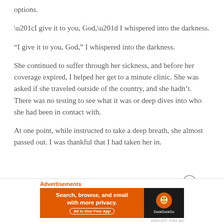options.
“I give it to you, God,” I whispered into the darkness.
She continued to suffer through her sickness, and before her coverage expired, I helped her get to a minute clinic. She was asked if she traveled outside of the country, and she hadn’t. There was no testing to see what it was or deep dives into who she had been in contact with.
At one point, while instructed to take a deep breath, she almost passed out. I was thankful that I had taken her in.
[Figure (screenshot): DuckDuckGo advertisement banner with orange background on left saying 'Search, browse, and email with more privacy. All in One Free App' and dark background on right with DuckDuckGo logo]